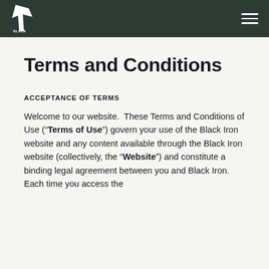Black Iron — navigation header with logo and menu
Terms and Conditions
ACCEPTANCE OF TERMS
Welcome to our website.  These Terms and Conditions of Use (“Terms of Use”) govern your use of the Black Iron website and any content available through the Black Iron website (collectively, the “Website”) and constitute a binding legal agreement between you and Black Iron.  Each time you access the